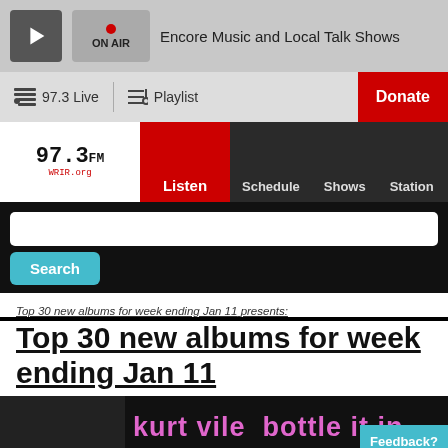Encore Music and Local Talk Shows | ON AIR
97.3 Live | Playlist | Donate
97.3 WRIR.org | Listen | Schedule | Shows | Station
Search
Top 30 new albums for week ending Jan 11 presents:
Top 30 new albums for week ending Jan 11
[Figure (screenshot): Album cover image showing 'kurt vile bottle it in' text in pink on dark background]